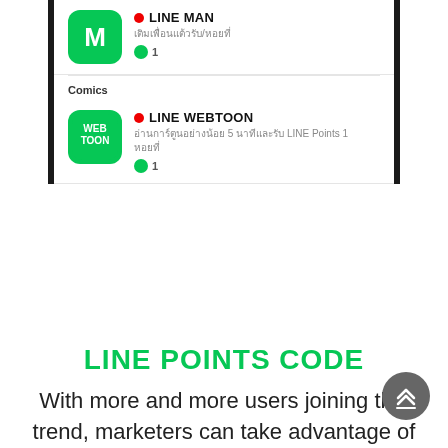[Figure (screenshot): Mobile app screenshot showing LINE MAN app entry with red dot, Thai description text, green circle with '1' points indicator]
Comics
[Figure (screenshot): Mobile app screenshot showing LINE WEBTOON app entry with red dot, Thai description text about reading for 5 minutes to earn LINE Points 1 point, green circle with '1' points indicator]
LINE POINTS CODE
With more and more users joining this trend, marketers can take advantage of